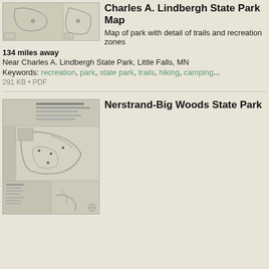[Figure (map): Thumbnail map of Charles A. Lindbergh State Park showing trails and recreation zones]
Charles A. Lindbergh State Park Map
Map of park with detail of trails and recreation zones
134 miles away
Near Charles A. Lindbergh State Park, Little Falls, MN
Keywords: recreation, park, state park, trails, hiking, camping...
291 KB • PDF
[Figure (map): Thumbnail map of Nerstrand-Big Woods State Park showing trails]
Nerstrand-Big Woods State Park